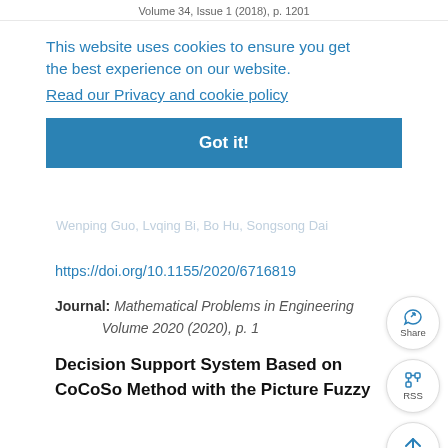Volume 34, Issue 1 (2018), p. 1201
This website uses cookies to ensure you get the best experience on our website.
Read our Privacy and cookie policy
Got it!
Cosine Similarity Measure of Complex Fuzzy Sets and Robustness of Complex
Wenping Guo, Lvqing Bi, Bo Hu, Songsong Dai
https://doi.org/10.1155/2020/6716819
Journal: Mathematical Problems in Engineering
Volume 2020 (2020), p. 1
Decision Support System Based on CoCoSo Method with the Picture Fuzzy